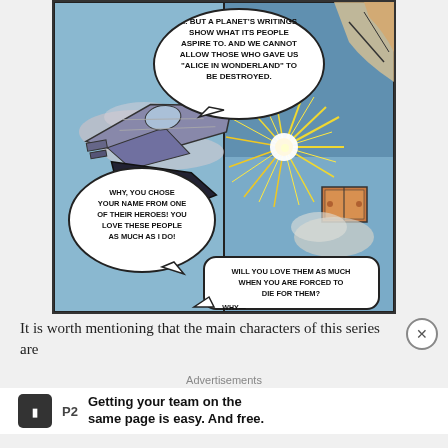[Figure (illustration): Comic book panel showing spacecraft in battle with an explosion. Two speech bubbles at top: '... BUT A PLANET'S WRITINGS SHOW WHAT ITS PEOPLE ASPIRE TO. AND WE CANNOT ALLOW THOSE WHO GAVE US "ALICE IN WONDERLAND" TO BE DESTROYED.' Bottom left bubble: 'WHY, YOU CHOSE YOUR NAME FROM ONE OF THEIR HEROES! YOU LOVE THESE PEOPLE AS MUCH AS I DO!' Bottom right bubble: 'WILL YOU LOVE THEM AS MUCH WHEN YOU ARE FORCED TO DIE FOR THEM?']
It is worth mentioning that the main characters of this series are
Advertisements
[Figure (logo): P2 logo advertisement: Getting your team on the same page is easy. And free.]